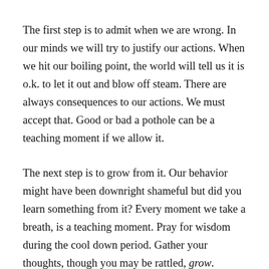The first step is to admit when we are wrong. In our minds we will try to justify our actions. When we hit our boiling point, the world will tell us it is o.k. to let it out and blow off steam. There are always consequences to our actions. We must accept that. Good or bad a pothole can be a teaching moment if we allow it.
The next step is to grow from it. Our behavior might have been downright shameful but did you learn something from it? Every moment we take a breath, is a teaching moment. Pray for wisdom during the cool down period. Gather your thoughts, though you may be rattled, grow.